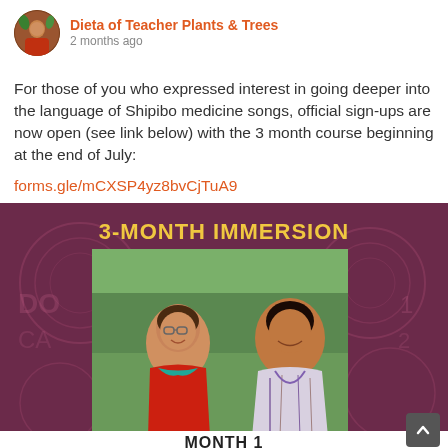Dieta of Teacher Plants & Trees
2 months ago
For those of you who expressed interest in going deeper into the language of Shipibo medicine songs, official sign-ups are now open (see link below) with the 3 month course beginning at the end of July:
forms.gle/mCXSP4yz8bvCjTuA9
[Figure (photo): Promotional image with dark maroon/purple background with decorative patterns, bold gold text '3-MONTH IMMERSION' at the top, a photo of two smiling people (a woman in red and a man in traditional patterned clothing), and 'MONTH 1' text at the bottom.]